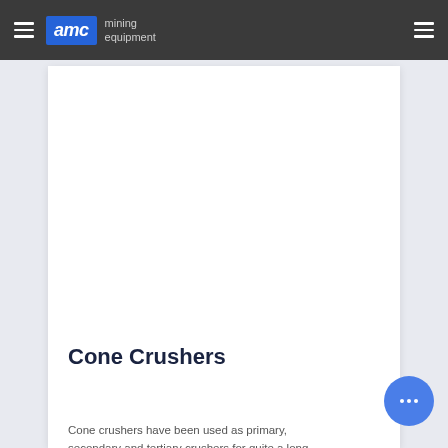AMC mining equipment
[Figure (photo): Large white/blank image area showing a cone crusher or related mining equipment (image not fully visible)]
Cone Crushers
Cone crushers have been used as primary, secondary and tertiary crushers for quite a long